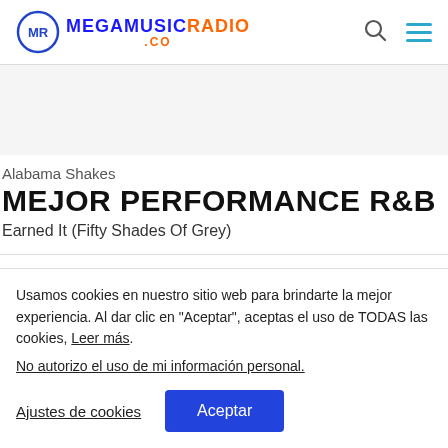MR MEGAMUSICRADIO .CO
Alabama Shakes
MEJOR PERFORMANCE R&B
Earned It (Fifty Shades Of Grey)
Usamos cookies en nuestro sitio web para brindarte la mejor experiencia. Al dar clic en "Aceptar", aceptas el uso de TODAS las cookies, Leer más.
No autorizo el uso de mi información personal.
Ajustes de cookies
Aceptar